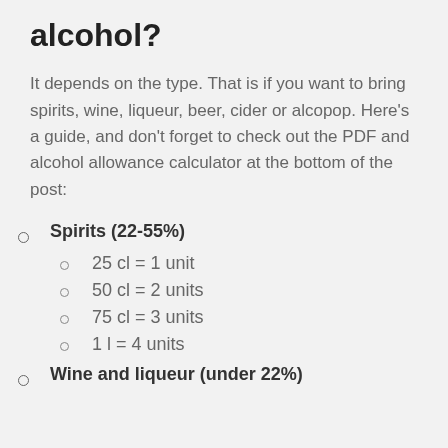alcohol?
It depends on the type. That is if you want to bring spirits, wine, liqueur, beer, cider or alcopop. Here's a guide, and don't forget to check out the PDF and alcohol allowance calculator at the bottom of the post:
Spirits (22-55%)
25 cl = 1 unit
50 cl = 2 units
75 cl = 3 units
1 l = 4 units
Wine and liqueur (under 22%)